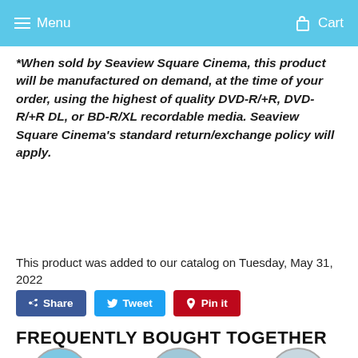Menu   Cart
*When sold by Seaview Square Cinema, this product will be manufactured on demand, at the time of your order, using the highest of quality DVD-R/+R, DVD-R/+R DL, or BD-R/XL recordable media. Seaview Square Cinema’s standard return/exchange policy will apply.
This product was added to our catalog on Tuesday, May 31, 2022
Share   Tweet   Pin it
FREQUENTLY BOUGHT TOGETHER
[Figure (photo): Three circular product images at bottom of page]